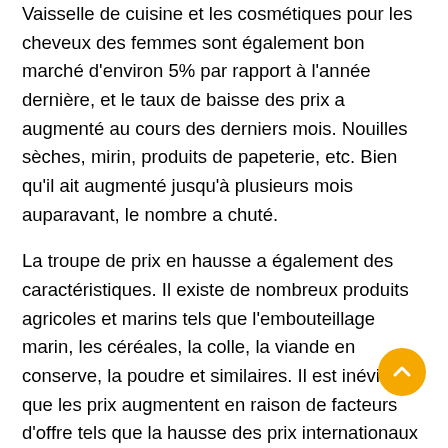Vaisselle de cuisine et les cosmétiques pour les cheveux des femmes sont également bon marché d'environ 5% par rapport à l'année dernière, et le taux de baisse des prix a augmenté au cours des derniers mois. Nouilles sèches, mirin, produits de papeterie, etc. Bien qu'il ait augmenté jusqu'à plusieurs mois auparavant, le nombre a chuté.
La troupe de prix en hausse a également des caractéristiques. Il existe de nombreux produits agricoles et marins tels que l'embouteillage marin, les céréales, la colle, la viande en conserve, la poudre et similaires. Il est inévitable que les prix augmentent en raison de facteurs d'offre tels que la hausse des prix internationaux des produits de base et la faiblesse / l'inexactitude, et il y a peu de cas où les augmentations de prix sont perçues comme liées à la demande.